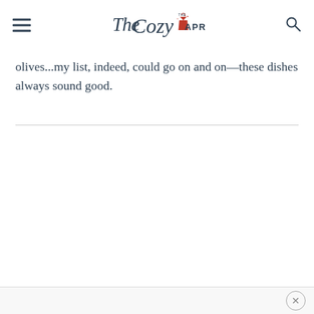The Cozy Apron
olives...my list, indeed, could go on and on—these dishes always sound good.